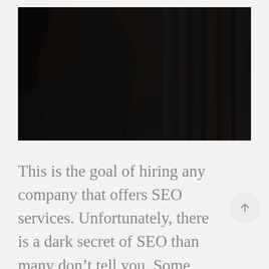[Figure (photo): Dark, moody photograph showing what appears to be books or architectural columns in very low light, predominantly black and dark grey tones]
This is the goal of hiring any company that offers SEO services. Unfortunately, there is a dark secret of SEO than many don't tell you. Some